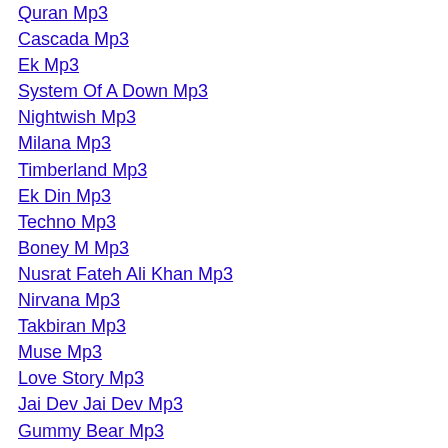Quran Mp3
Cascada Mp3
Ek Mp3
System Of A Down Mp3
Nightwish Mp3
Milana Mp3
Timberland Mp3
Ek Din Mp3
Techno Mp3
Boney M Mp3
Nusrat Fateh Ali Khan Mp3
Nirvana Mp3
Takbiran Mp3
Muse Mp3
Love Story Mp3
Jai Dev Jai Dev Mp3
Gummy Bear Mp3
Colbie Caillat Mp3
Bhulbhulaiya Mp3
Tiesto Mp3
Chand Mera Dil Mp3
Miroslav Skoro Mp3
Prodigy Mp3
Madai Thiranthu Mp3
Colbie Caillat Mp3
Champions League Mp3